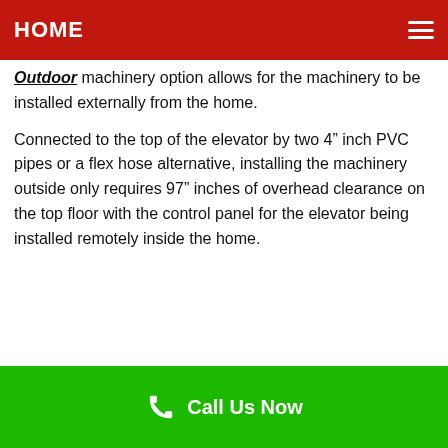HOME
Outdoor machinery option allows for the machinery to be installed externally from the home.
Connected to the top of the elevator by two 4” inch PVC pipes or a flex hose alternative, installing the machinery outside only requires 97” inches of overhead clearance on the top floor with the control panel for the elevator being installed remotely inside the home.
Call Us Now